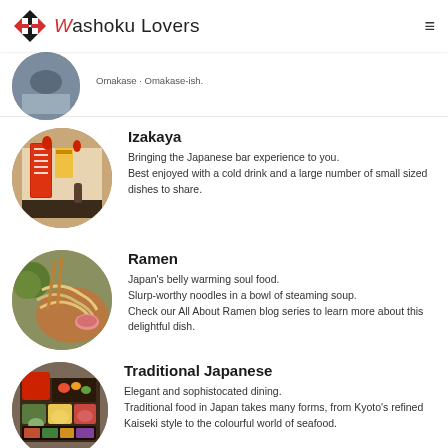Washoku Lovers
[Figure (photo): Circular cropped photo of an Izakaya restaurant storefront with Japanese signage]
Izakaya
Bringing the Japanese bar experience to you. Best enjoyed with a cold drink and a large number of small sized dishes to share.
[Figure (photo): Circular cropped photo of ramen noodles being lifted with chopsticks from a bowl]
Ramen
Japan's belly warming soul food. Slurp-worthy noodles in a bowl of steaming soup. Check our All About Ramen blog series to learn more about this delightful dish.
[Figure (photo): Circular cropped photo of a traditional Japanese bento box with colorful foods]
Traditional Japanese
Elegant and sophistocated dining. Traditional food in Japan takes many forms, from Kyoto's refined Kaiseki style to the colourful world of seafood.